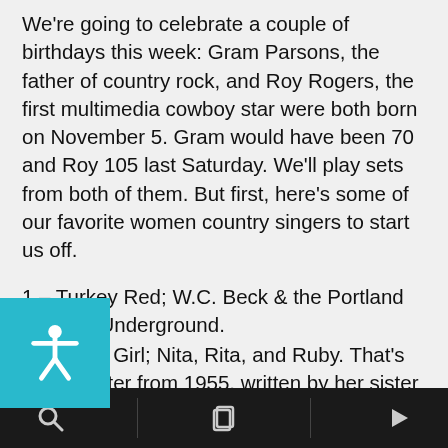We're going to celebrate a couple of birthdays this week: Gram Parsons, the father of country rock, and Roy Rogers, the first multimedia cowboy star were both born on November 5. Gram would have been 70 and Roy 105 last Saturday. We'll play sets from both of them. But first, here's some of our favorite women country singers to start us off.
1 – Turkey Red; W.C. Beck & the Portland Country Underground.
2 – Moon Girl; Nita, Rita, and Ruby. That's Anita Carter from 1955, written by her sister Helen and Delores Dinning, with Rita Robbins and Kitty Wells' daughter Ruby Wright.
3 – Love Is The Look You're Looking For; Connie Smith. A top 10 hit from 1972.
4 – Just Someone I Used To Know; Dolly Parton and